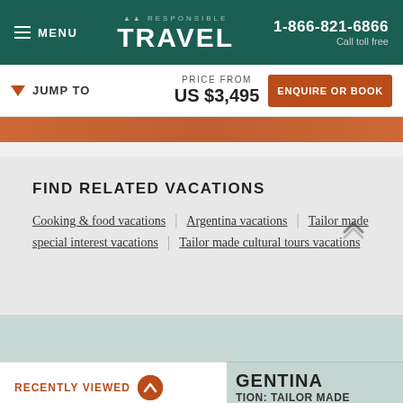MENU | RESPONSIBLE TRAVEL | 1-866-821-6866 Call toll free
▼ JUMP TO | PRICE FROM US $3,495 | ENQUIRE OR BOOK
FIND RELATED VACATIONS
Cooking & food vacations
Argentina vacations
Tailor made special interest vacations
Tailor made cultural tours vacations
RECENTLY VIEWED
GENTINA
TION: TAILOR MADE